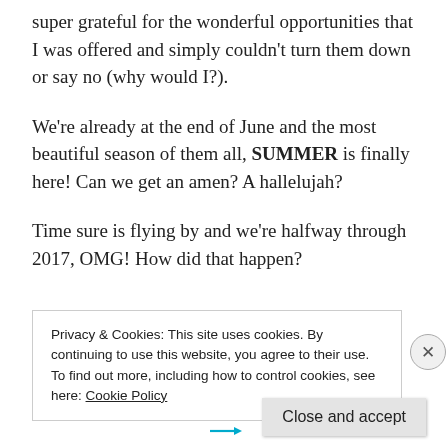super grateful for the wonderful opportunities that I was offered and simply couldn't turn them down or say no (why would I?).
We're already at the end of June and the most beautiful season of them all, SUMMER is finally here! Can we get an amen? A hallelujah?
Time sure is flying by and we're halfway through 2017, OMG! How did that happen?
Privacy & Cookies: This site uses cookies. By continuing to use this website, you agree to their use.
To find out more, including how to control cookies, see here: Cookie Policy